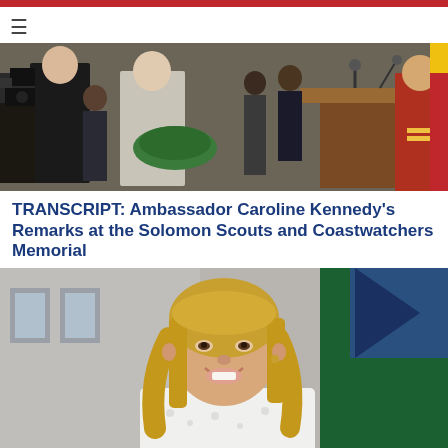[Figure (photo): Women placing a floral wreath at a ceremony, with photographers and military personnel in the background.]
TRANSCRIPT: Ambassador Caroline Kennedy's Remarks at the Solomon Scouts and Coastwatchers Memorial
[Figure (photo): Close-up portrait of a blonde woman smiling, with flags in the background.]